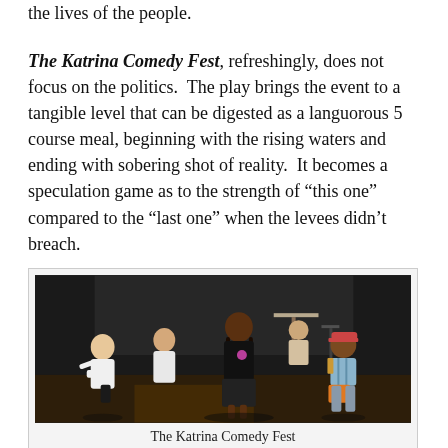the lives of the people.
The Katrina Comedy Fest, refreshingly, does not focus on the politics.  The play brings the event to a tangible level that can be digested as a languorous 5 course meal, beginning with the rising waters and ending with sobering shot of reality.  It becomes a speculation game as to the strength of “this one” compared to the “last one” when the levees didn’t breach.
[Figure (photo): Stage performance photo of The Katrina Comedy Fest showing several performers on a dark stage, with a central female performer in a black outfit with braids, flanked by other cast members seated and standing.]
The Katrina Comedy Fest